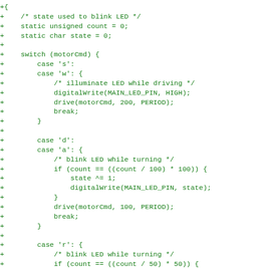[Figure (screenshot): Code diff snippet showing C/C++ code for controlling LED blinking and motor drive commands, displayed in green monospace font on white background. Lines start with '+' indicating additions in a diff view.]